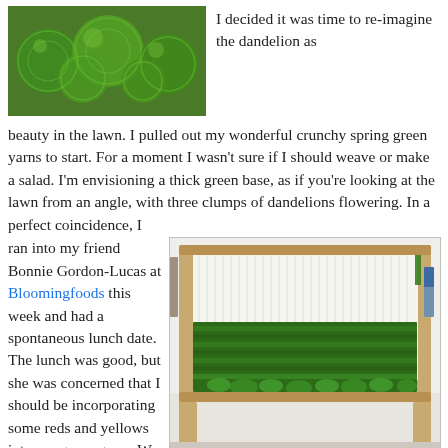[Figure (photo): Close-up photograph of bright green yarn balls/skeins]
I decided it was time to re-imagine the dandelion as beauty in the lawn. I pulled out my wonderful crunchy spring green yarns to start. For a moment I wasn't sure if I should weave or make a salad. I'm envisioning a thick green base, as if you're looking at the lawn from an angle, with three clumps of dandelions flowering. In a perfect coincidence, I ran into my friend Bonnie Gordon-Lucas at Bloomingfoods this week and had a spontaneous lunch date. The lunch was good, but she was concerned that I should be incorporating some reds and yellows into my green grass. We also bonded on the wonderful spring green colors that you can only see this time of year. If you look closely at the emerging foliage you
[Figure (photo): Photograph of a wooden loom with a green woven textile piece showing textured green weaving in progress, set in a room with frames on the wall]